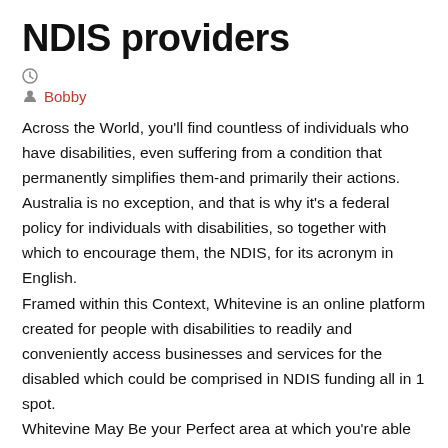NDIS providers
Bobby
Across the World, you'll find countless of individuals who have disabilities, even suffering from a condition that permanently simplifies them-and primarily their actions. Australia is no exception, and that is why it's a federal policy for individuals with disabilities, so together with which to encourage them, the NDIS, for its acronym in English.
Framed within this Context, Whitevine is an online platform created for people with disabilities to readily and conveniently access businesses and services for the disabled which could be comprised in NDIS funding all in 1 spot.
Whitevine May Be your Perfect area at which you're able to find disabled folks who have companies that can be NDIS